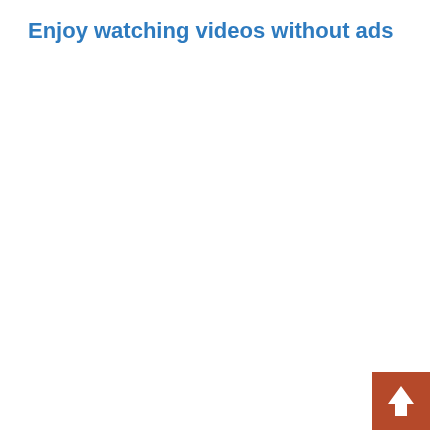Enjoy watching videos without ads
[Figure (other): Back to top button: a terracotta/brown-red square with a white upward arrow icon in the center, positioned in the bottom-right corner of the page.]